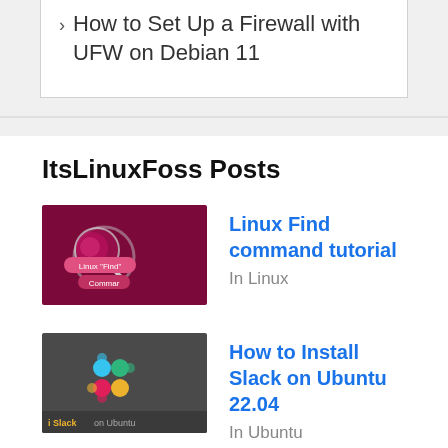How to Set Up a Firewall with UFW on Debian 11
ItsLinuxFoss Posts
[Figure (illustration): Linux Find command tutorial thumbnail - dark red background with circular icon and text labels 'Linux Find' and 'Commar']
Linux Find command tutorial
In Linux
[Figure (illustration): How to Install Slack on Ubuntu thumbnail - dark gray background with Slack colorful logo and text 'Slack on Ubuntu']
How to Install Slack on Ubuntu 22.04
In Ubuntu
[Figure (illustration): How To Install Apache on Debian 11 thumbnail - light background with Apache feather logo]
How To Install Apache on Debian 11